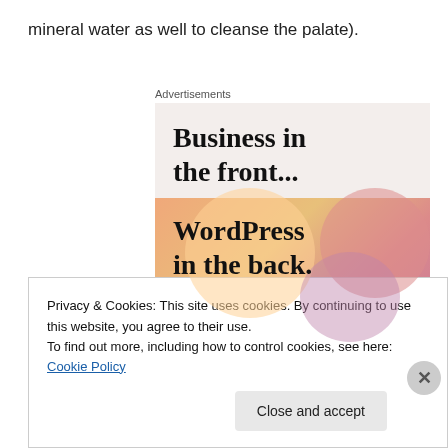mineral water as well to cleanse the palate).
[Figure (other): Advertisement banner showing 'Business in the front...' text on a light beige background, and 'WordPress in the back.' text on a colorful gradient background with peach, orange and pink blob shapes.]
Privacy & Cookies: This site uses cookies. By continuing to use this website, you agree to their use.
To find out more, including how to control cookies, see here: Cookie Policy